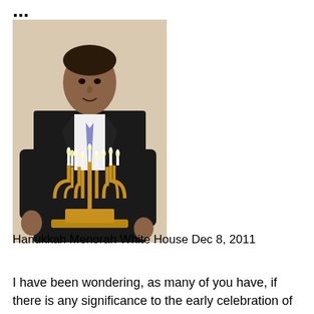...
[Figure (photo): A man in a dark suit with a purple tie standing behind a lit Hanukkah menorah (chanukiah) with nine candles burning, photographed at the White House.]
Hanukkah Menorah White House Dec 8, 2011
I have been wondering, as many of you have, if there is any significance to the early celebration of Hanukkah at